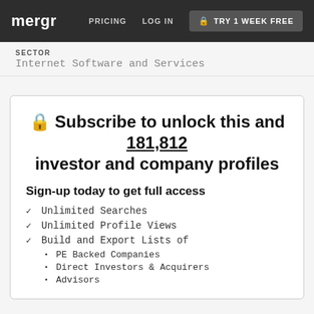mergr  PRICING  LOG IN  TRY 1 WEEK FREE
SECTOR
Internet Software and Services
🔒 Subscribe to unlock this and 181,812 investor and company profiles
Sign-up today to get full access
✓ Unlimited Searches
✓ Unlimited Profile Views
✓ Build and Export Lists of
PE Backed Companies
Direct Investors & Acquirers
Advisors